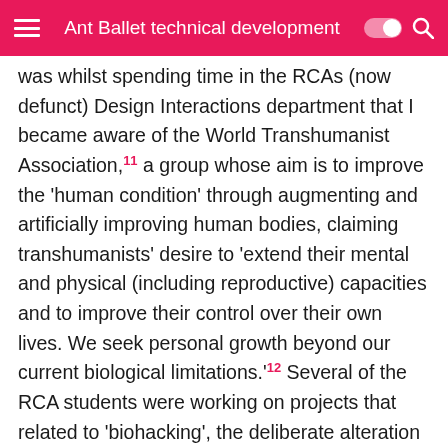Ant Ballet technical development
was whilst spending time in the RCAs (now defunct) Design Interactions department that I became aware of the World Transhumanist Association,11 a group whose aim is to improve the 'human condition' through augmenting and artificially improving human bodies, claiming transhumanists' desire to 'extend their mental and physical (including reproductive) capacities and to improve their control over their own lives. We seek personal growth beyond our current biological limitations.'12 Several of the RCA students were working on projects that related to 'biohacking', the deliberate alteration of the human body to adjust its natural capabilities (for example, the surgical placement of small magnets in the fingertips to allow for the detection of electromagnetic fields). At the time, I was intrigued by the world of online forums and tutorials that existed to support such activities, but surprised that so